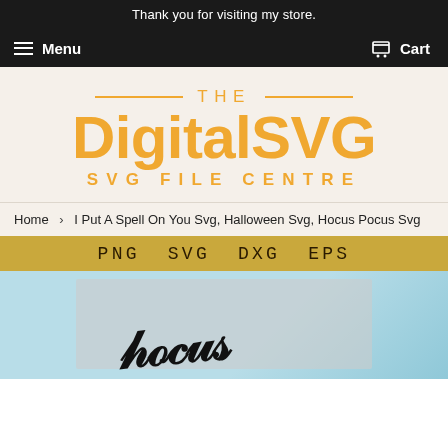Thank you for visiting my store.
Menu   Cart
[Figure (logo): The DigitalSVG SVG File Centre logo in golden/amber color with horizontal lines flanking THE text and large bold DigitalSVG lettering]
Home › I Put A Spell On You Svg, Halloween Svg, Hocus Pocus Svg
[Figure (screenshot): Product listing image banner showing PNG SVG DXG EPS label bar in golden color and a preview of the Hocus Pocus Halloween design on light blue background]